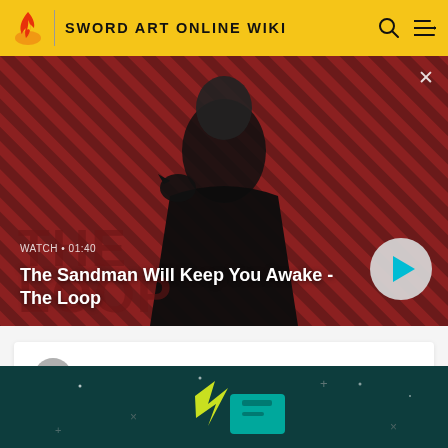SWORD ART ONLINE WIKI
[Figure (screenshot): Video thumbnail showing a dark-cloaked figure with a crow on their shoulder against a red diagonal striped background. Shows 'THE LOOP' text in background. Video metadata: WATCH • 01:40. Title: The Sandman Will Keep You Awake - The Loop. Play button on right.]
3  Tozawa Misumi
[Figure (screenshot): Partial bottom banner with dark teal background showing gaming/lightning bolt imagery with yellow/green colors.]